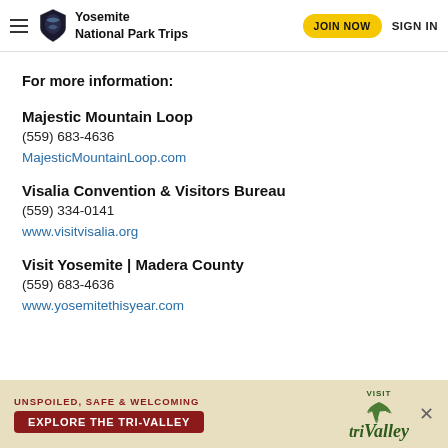Yosemite National Park Trips | JOIN NOW | SIGN IN
For more information:
Majestic Mountain Loop
(559) 683-4636
MajesticMountainLoop.com
Visalia Convention & Visitors Bureau
(559) 334-0141
www.visitvisalia.org
Visit Yosemite | Madera County
(559) 683-4636
www.yosemitethisyear.com
[Figure (infographic): Advertisement banner: 'UNSPOILED, SAFE & WELCOMING — EXPLORE THE TRI-VALLEY' with Tri Valley logo and close button]